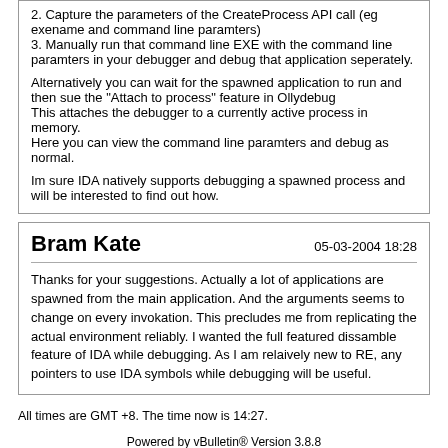2. Capture the parameters of the CreateProcess API call (eg exename and command line paramters)
3. Manually run that command line EXE with the command line paramters in your debugger and debug that application seperately.

Alternatively you can wait for the spawned application to run and then sue the "Attach to process" feature in Ollydebug
This attaches the debugger to a currently active process in memory.
Here you can view the command line paramters and debug as normal.

Im sure IDA natively supports debugging a spawned process and will be interested to find out how.
Bram Kate
05-03-2004 18:28
Thanks for your suggestions. Actually a lot of applications are spawned from the main application. And the arguments seems to change on every invokation. This precludes me from replicating the actual environment reliably. I wanted the full featured dissamble feature of IDA while debugging. As I am relaively new to RE, any pointers to use IDA symbols while debugging will be useful.
All times are GMT +8. The time now is 14:27.
Powered by vBulletin® Version 3.8.8
Copyright ©2000 - 2022, vBulletin Solutions, Inc.
Always Your Best Friend: Aaron, JMI, ahmadmansoor, ZeNiX